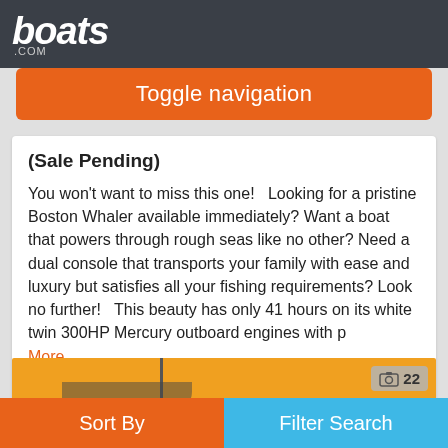boats.com
Toggle navigation
(Sale Pending)
You won't want to miss this one!   Looking for a pristine Boston Whaler available immediately? Want a boat that powers through rough seas like no other? Need a dual console that transports your family with ease and luxury but satisfies all your fishing requirements? Look no further!   This beauty has only 41 hours on its white twin 300HP Mercury outboard engines with p
More...
Seller MarineMax Norwalk
[Figure (photo): Partial view of a boat with yellow hull and dark mast, bottom image strip]
Sort By | Filter Search